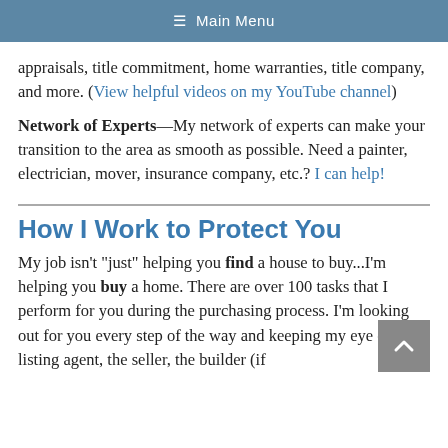≡ Main Menu
appraisals, title commitment, home warranties, title company, and more. (View helpful videos on my YouTube channel)
Network of Experts—My network of experts can make your transition to the area as smooth as possible. Need a painter, electrician, mover, insurance company, etc.? I can help!
How I Work to Protect You
My job isn't "just" helping you find a house to buy...I'm helping you buy a home. There are over 100 tasks that I perform for you during the purchasing process. I'm looking out for you every step of the way and keeping my eye on the listing agent, the seller, the builder (if